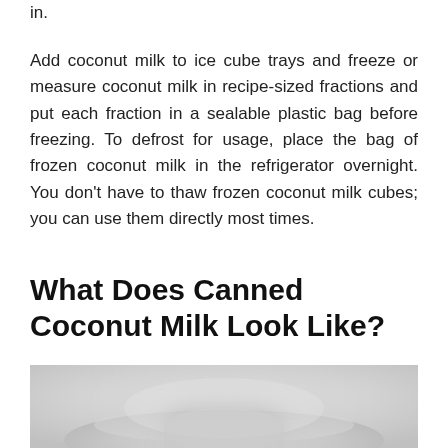in.
Add coconut milk to ice cube trays and freeze or measure coconut milk in recipe-sized fractions and put each fraction in a sealable plastic bag before freezing. To defrost for usage, place the bag of frozen coconut milk in the refrigerator overnight. You don’t have to thaw frozen coconut milk cubes; you can use them directly most times.
What Does Canned Coconut Milk Look Like?
[Figure (photo): A photo of canned coconut milk, showing a white creamy liquid in a bowl or container, partially visible at the bottom of the page.]